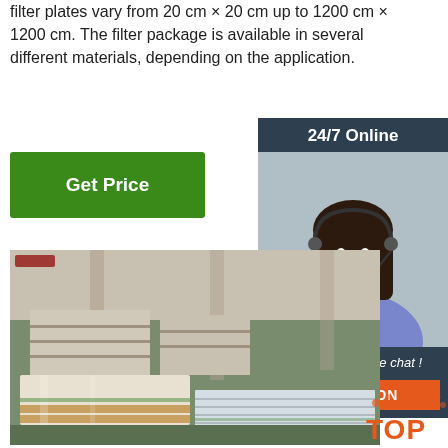filter plates vary from 20 cm × 20 cm up to 1200 cm × 1200 cm. The filter package is available in several different materials, depending on the application.
[Figure (other): Green 'Get Price' button]
[Figure (other): 24/7 Online chat widget with female customer service representative wearing headset, 'Click here for free chat!' text, and orange QUOTATION button]
[Figure (photo): Warehouse photo showing stacked stainless steel filter plates on wooden pallets in an industrial facility]
[Figure (logo): TOP badge/logo in bottom right corner with orange dots]